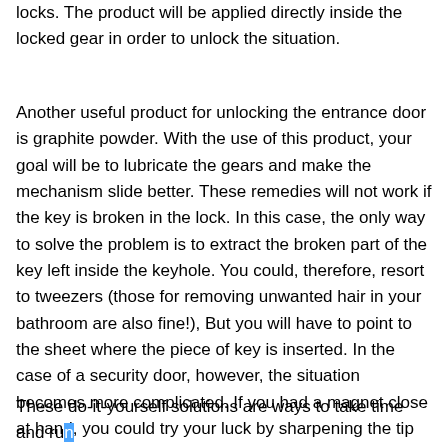locks. The product will be applied directly inside the locked gear in order to unlock the situation.
Another useful product for unlocking the entrance door is graphite powder. With the use of this product, your goal will be to lubricate the gears and make the mechanism slide better. These remedies will not work if the key is broken in the lock. In this case, the only way to solve the problem is to extract the broken part of the key left inside the keyhole. You could, therefore, resort to tweezers (those for removing unwanted hair in your bathroom are also fine!), But you will have to point to the sheet where the piece of key is inserted. In the case of a security door, however, the situation becomes more complicated. If you had a magnet close at hand, you could try your luck by sharpening the tip and inserting it inside the lock, in order to slowly attract it outwards.
These do-it-yourself solutions are ways to take time and run